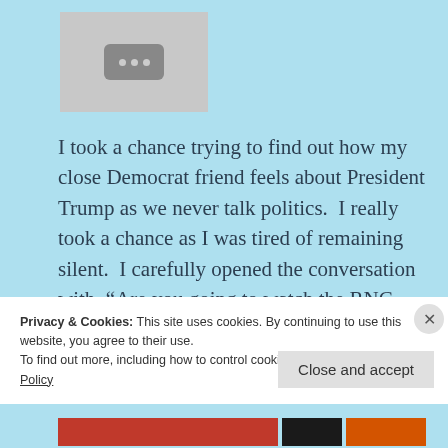[Figure (screenshot): A gray thumbnail placeholder with a dark rounded rectangle icon containing three gray dots, resembling a video player loading icon.]
I took a chance trying to find out how my close Democrat friend feels about President Trump as we never talk politics.  I really took a chance as I was tired of remaining silent.  I carefully opened the conversation with, “Are you going to watch the RNC Convention tonight?”
Privacy & Cookies: This site uses cookies. By continuing to use this website, you agree to their use.
To find out more, including how to control cookies, see here: Cookie Policy
Close and accept